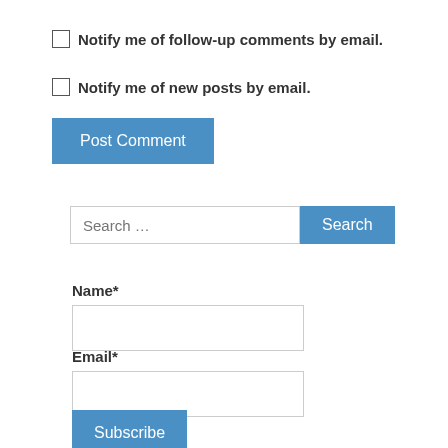Notify me of follow-up comments by email.
Notify me of new posts by email.
Post Comment
Search ...
Search
Name*
Email*
Subscribe